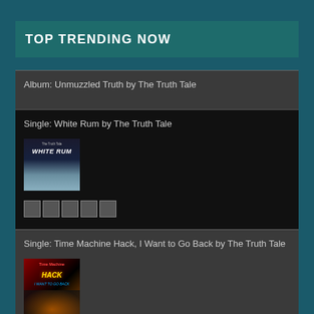TOP TRENDING NOW
Album: Unmuzzled Truth by The Truth Tale
Single: White Rum by The Truth Tale
Single: Time Machine Hack, I Want to Go Back by The Truth Tale
Album: Tales From A Strange World by The Truth Tale